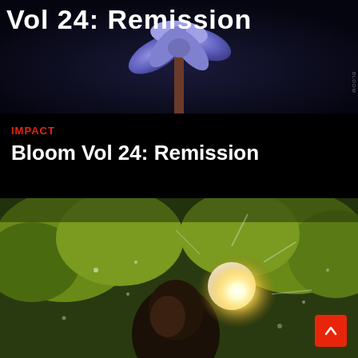[Figure (photo): Dark background with a stylized purple/blue flower and brown stem. Large white bold text partially visible at top reading 'Vol 24: Remission' or similar.]
IMPACT
Bloom Vol 24: Remission
[Figure (photo): Person looking up toward bright sunlight bursting through green leafy trees, outdoors nature scene with warm golden light.]